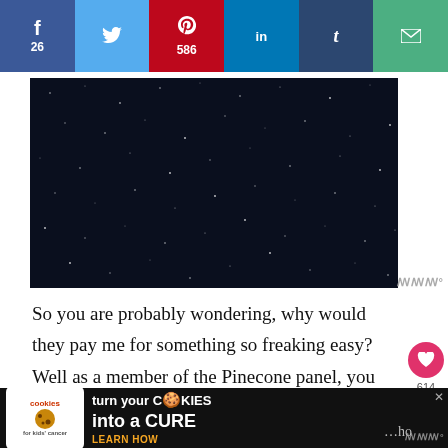f 26 | twitter | pinterest 586 | in | t | email
[Figure (photo): Dark night sky image with small white speckles resembling stars, shown in a large rectangular box. A watermark logo appears in the bottom right corner.]
So you are probably wondering, why would they pay me for something so freaking easy? Well as a member of the Pinecone panel, you are of a group that represents consumers and households like yours nationwide.
[Figure (infographic): Advertisement banner at the bottom: 'Cookies for Kids Cancer' logo on left, text reads 'turn your COOKIES into a CURE LEARN HOW' on dark background.]